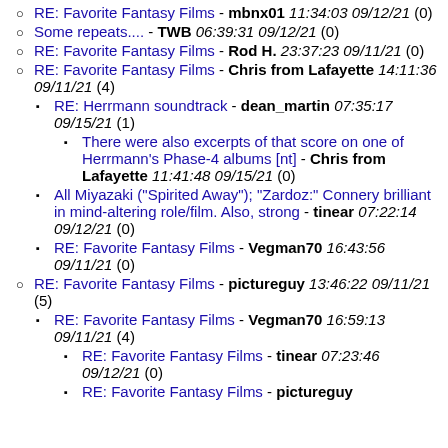RE: Favorite Fantasy Films - mbnx01 11:34:03 09/12/21 (0)
Some repeats.... - TWB 06:39:31 09/12/21 (0)
RE: Favorite Fantasy Films - Rod H. 23:37:23 09/11/21 (0)
RE: Favorite Fantasy Films - Chris from Lafayette 14:11:36 09/11/21 (4)
RE: Herrmann soundtrack - dean_martin 07:35:17 09/15/21 (1)
There were also excerpts of that score on one of Herrmann's Phase-4 albums [nt] - Chris from Lafayette 11:41:48 09/15/21 (0)
All Miyazaki ("Spirited Away"); "Zardoz:" Connery brilliant in mind-altering role/film. Also, strong - tinear 07:22:14 09/12/21 (0)
RE: Favorite Fantasy Films - Vegman70 16:43:56 09/11/21 (0)
RE: Favorite Fantasy Films - pictureguy 13:46:22 09/11/21 (5)
RE: Favorite Fantasy Films - Vegman70 16:59:13 09/11/21 (4)
RE: Favorite Fantasy Films - tinear 07:23:46 09/12/21 (0)
RE: Favorite Fantasy Films - pictureguy